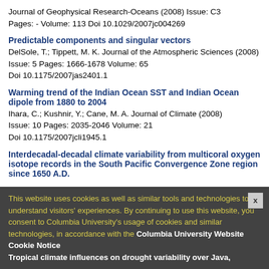Journal of Geophysical Research-Oceans  (2008)    Issue: C3
Pages: -    Volume: 113  Doi 10.1029/2007jc004269
Predictable components and singular vectors
DelSole, T.; Tippett, M. K.  Journal of the Atmospheric Sciences (2008)    Issue: 5  Pages: 1666-1678    Volume: 65
Doi 10.1175/2007jas2401.1
Warming trend of the Indian Ocean SST and Indian Ocean dipole from 1880 to 2004
Ihara, C.; Kushnir, Y.; Cane, M. A.  Journal of Climate  (2008)
Issue: 10  Pages: 2035-2046    Volume: 21
Doi 10.1175/2007jcli1945.1
Interdecadal-decadal climate variability from multicoral oxygen isotope records in the South Pacific Convergence Zone region since 1650 A.D.
This website uses cookies as well as similar tools and technologies to understand visitors' experiences. By continuing to use this website, you consent to Columbia University's usage of cookies and similar technologies, in accordance with the Columbia University Website Cookie Notice
Tropical climate influences on drought variability over Java,